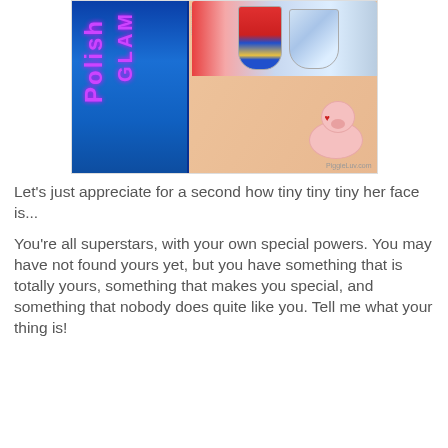[Figure (photo): Photo of a blue glitter nail polish bottle with 'Glam Polish' label, next to decorated fingernails including one with a Superman design, and a small pink pig figurine in the lower right. Watermark reads PiggieLuv.com.]
Let's just appreciate for a second how tiny tiny tiny her face is...
You're all superstars, with your own special powers. You may have not found yours yet, but you have something that is totally yours, something that makes you special, and something that nobody does quite like you. Tell me what your thing is!